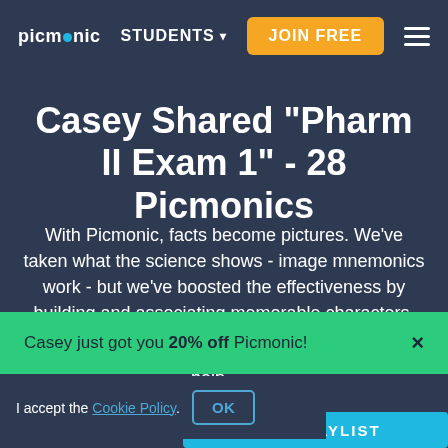[Figure (screenshot): Picmonic website navigation bar with logo, STUDENTS dropdown, JOIN FREE button, and hamburger menu]
Casey Shared "Pharm II Exam 1" - 28 Picmonics
With Picmonic, facts become pictures. We've taken what the science shows - image mnemonics work - but we've boosted the effectiveness by building and associating memorable characters, interesting audio stories
Casey just got you 20% off Picmonic!
I accept the Cookie Policy.
OK
help.
GET PLAYLIST